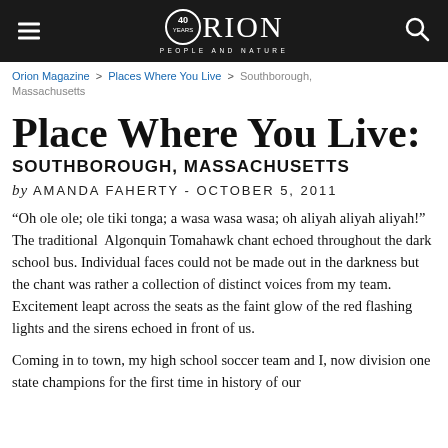Orion Magazine — 40 years — People and Nature
Orion Magazine > Places Where You Live > Southborough, Massachusetts
Place Where You Live:
SOUTHBOROUGH, MASSACHUSETTS
by AMANDA FAHERTY - OCTOBER 5, 2011
“Oh ole ole; ole tiki tonga; a wasa wasa wasa; oh aliyah aliyah aliyah!” The traditional Algonquin Tomahawk chant echoed throughout the dark school bus. Individual faces could not be made out in the darkness but the chant was rather a collection of distinct voices from my team. Excitement leapt across the seats as the faint glow of the red flashing lights and the sirens echoed in front of us.
Coming in to town, my high school soccer team and I, now division one state champions for the first time in history of our